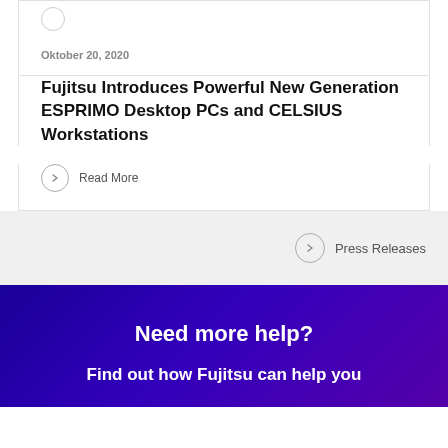Oktober 20, 2020
Fujitsu Introduces Powerful New Generation ESPRIMO Desktop PCs and CELSIUS Workstations
Read More
Press Releases
Need more help?
Find out how Fujitsu can help you